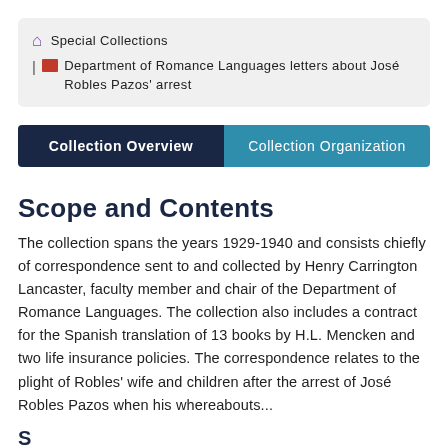Special Collections | Department of Romance Languages letters about José Robles Pazos' arrest
Collection Overview   Collection Organization
Scope and Contents
The collection spans the years 1929-1940 and consists chiefly of correspondence sent to and collected by Henry Carrington Lancaster, faculty member and chair of the Department of Romance Languages. The collection also includes a contract for the Spanish translation of 13 books by H.L. Mencken and two life insurance policies. The correspondence relates to the plight of Robles' wife and children after the arrest of José Robles Pazos when his whereabouts...
S...